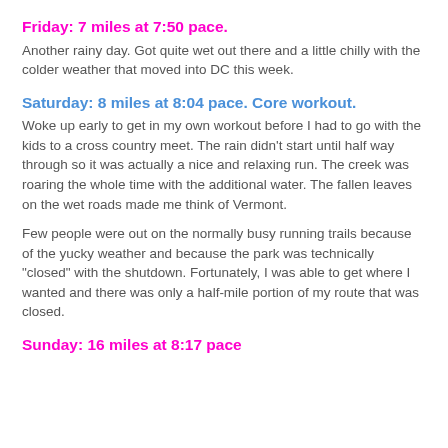Friday: 7 miles at 7:50 pace.
Another rainy day. Got quite wet out there and a little chilly with the colder weather that moved into DC this week.
Saturday: 8 miles at 8:04 pace. Core workout.
Woke up early to get in my own workout before I had to go with the kids to a cross country meet. The rain didn't start until half way through so it was actually a nice and relaxing run. The creek was roaring the whole time with the additional water. The fallen leaves on the wet roads made me think of Vermont.
Few people were out on the normally busy running trails because of the yucky weather and because the park was technically "closed" with the shutdown. Fortunately, I was able to get where I wanted and there was only a half-mile portion of my route that was closed.
Sunday: 16 miles at 8:17 pace